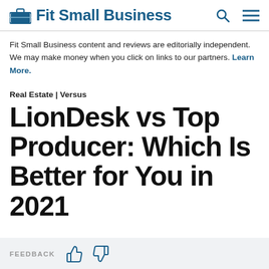Fit Small Business
Fit Small Business content and reviews are editorially independent. We may make money when you click on links to our partners. Learn More.
Real Estate | Versus
LionDesk vs Top Producer: Which Is Better for You in 2021
FEEDBACK